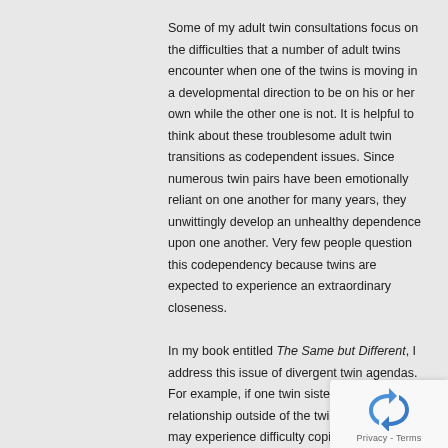Some of my adult twin consultations focus on the difficulties that a number of adult twins encounter when one of the twins is moving in a developmental direction to be on his or her own while the other one is not. It is helpful to think about these troublesome adult twin transitions as codependent issues. Since numerous twin pairs have been emotionally reliant on one another for many years, they unwittingly develop an unhealthy dependence upon one another. Very few people question this codependency because twins are expected to experience an extraordinary closeness.
In my book entitled The Same but Different, I address this issue of divergent twin agendas. For example, if one twin sister seeks a relationship outside of the twinship, both twins may experience difficulty coping with the new attachment. The twin in the new relationship feels guilty and selfish for “replacing” her sister, and the “abandoned” twin feels angry, resentful, and
[Figure (logo): reCAPTCHA privacy badge with blue recycling-style icon and Privacy - Terms text]